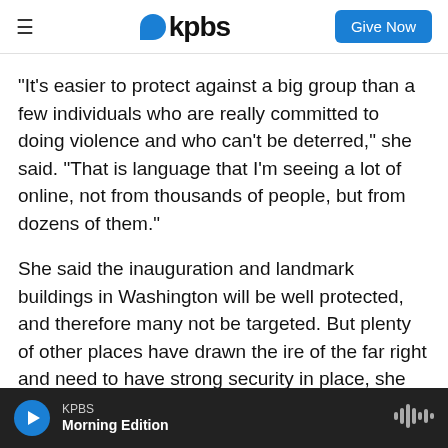kpbs | Give Now
"It's easier to protect against a big group than a few individuals who are really committed to doing violence and who can't be deterred," she said. "That is language that I'm seeing a lot of online, not from thousands of people, but from dozens of them."
She said the inauguration and landmark buildings in Washington will be well protected, and therefore many not be targeted. But plenty of other places have drawn the ire of the far right and need to have strong security in place, she added.
KPBS Morning Edition